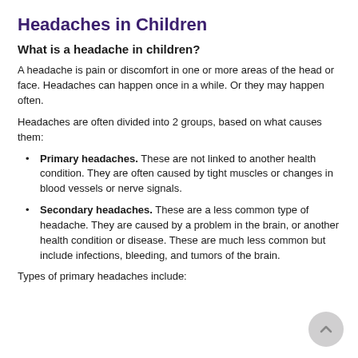Headaches in Children
What is a headache in children?
A headache is pain or discomfort in one or more areas of the head or face. Headaches can happen once in a while. Or they may happen often.
Headaches are often divided into 2 groups, based on what causes them:
Primary headaches. These are not linked to another health condition. They are often caused by tight muscles or changes in blood vessels or nerve signals.
Secondary headaches. These are a less common type of headache. They are caused by a problem in the brain, or another health condition or disease. These are much less common but include infections, bleeding, and tumors of the brain.
Types of primary headaches include: